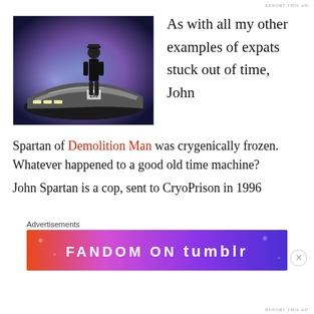[Figure (photo): A man in a black police uniform standing in front of a futuristic sports car, against a blue/purple smoky background. The car has the number 299 visible.]
As with all my other examples of expats stuck out of time, John Spartan of Demolition Man was crygenically frozen. Whatever happened to a good old time machine?
John Spartan is a cop, sent to CryoPrison in 1996
Advertisements
[Figure (other): Fandom on Tumblr advertisement banner with colorful gradient background]